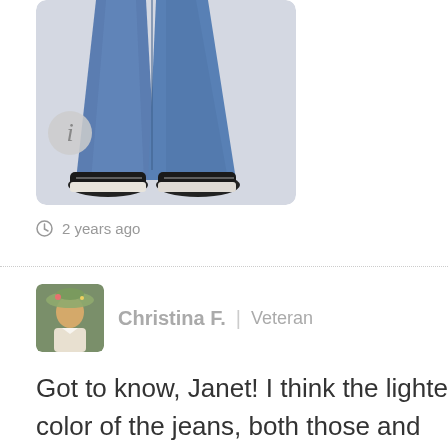[Figure (photo): Lower half of a person wearing wide-leg blue jeans and black Converse sneakers against a light grey background. A circular info icon appears in the lower-left corner of the image.]
2 years ago
Christina F. | Veteran
Got to know, Janet! I think the lighte color of the jeans, both those and th ones I tried, doesn't help. The jeans